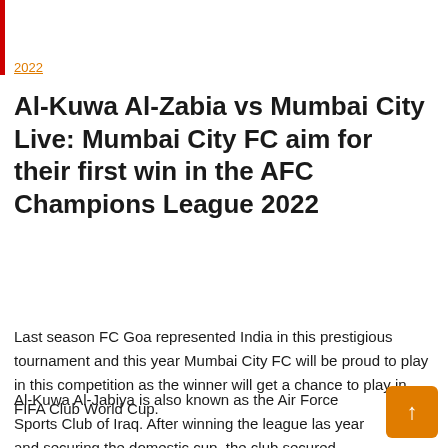2022
Al-Kuwa Al-Zabia vs Mumbai City Live: Mumbai City FC aim for their first win in the AFC Champions League 2022
Last season FC Goa represented India in this prestigious tournament and this year Mumbai City FC will be proud to play in this competition as the winner will get a chance to play in FIFA Club World Cup.
Al-Kuwa Al-Jabiya is also known as the Air Force Sports Club of Iraq. After winning the league last year and securing the domestic cup, the club secured